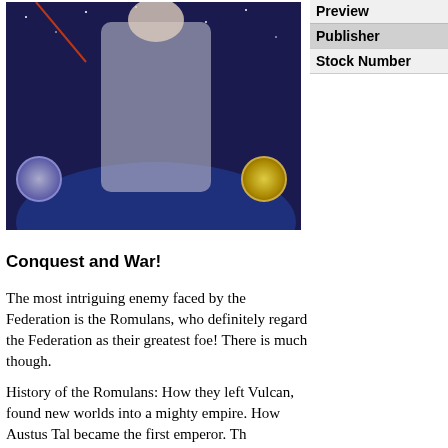[Figure (illustration): Book cover image for 'Complete Imperial Data File' showing a figure in a silvery suit with space background, two badges/medallions on either side, and bold red title text.]
Preview
Publisher
Stock Number
Conquest and War!
The most intriguing enemy faced by the Federation is the Romulans, who definitely regard the Federation as their greatest foe! There is much though.
History of the Romulans: How they left Vulcan, found new worlds into a mighty empire. How Austus Tal became the first emperor. Th
Complete Species Profile: Everything there is to know about the Ro military, government, emperors, religions, economics, legal system Security Agency, and more!
Planet Surveys: Complete data on the twin capitals, other star syste stronghold of Revils, the worlds on the Neutral Zone, and basic dat
Starships: A survey of the three different series of Romulan ships. T